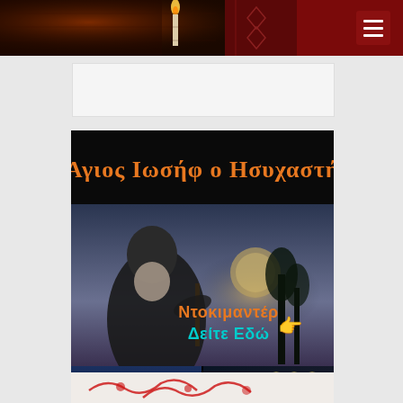[Figure (photo): Website header with candle and religious imagery on dark red background with hamburger menu icon]
[Figure (photo): Documentary film promotional image for 'Άγιος Ιωσήφ ο Ησυχαστής' (Saint Joseph the Hesychast) showing Greek text title in orange, a bearded monk figure, sunset scene, and subtitle 'Ντοκιμαντέρ Δείτε Εδώ' (Documentary Watch Here) in cyan/orange, with film festival award laurels]
[Figure (photo): Partial bottom image showing red decorative elements on light background]